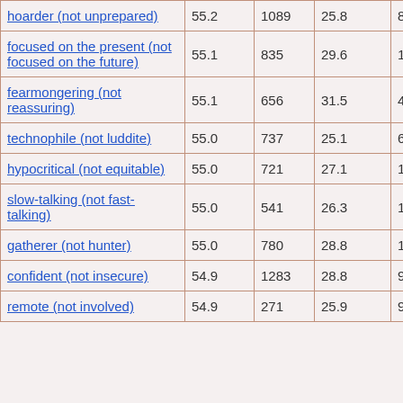| hoarder (not unprepared) | 55.2 | 1089 | 25.8 | 81 |
| focused on the present (not focused on the future) | 55.1 | 835 | 29.6 | 102 |
| fearmongering (not reassuring) | 55.1 | 656 | 31.5 | 42 |
| technophile (not luddite) | 55.0 | 737 | 25.1 | 68 |
| hypocritical (not equitable) | 55.0 | 721 | 27.1 | 121 |
| slow-talking (not fast-talking) | 55.0 | 541 | 26.3 | 130 |
| gatherer (not hunter) | 55.0 | 780 | 28.8 | 113 |
| confident (not insecure) | 54.9 | 1283 | 28.8 | 90 |
| remote (not involved) | 54.9 | 271 | 25.9 | 97 |